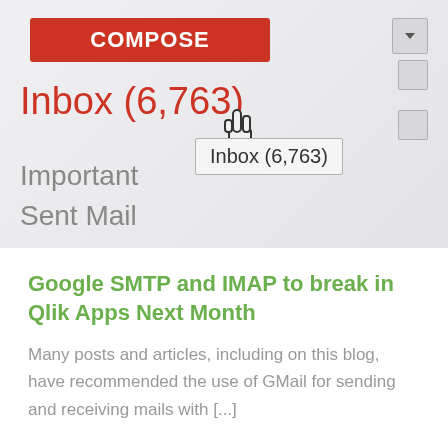[Figure (screenshot): Gmail interface screenshot showing a red COMPOSE button at top, Inbox (6,763) label in red with a hand cursor hovering and a tooltip showing Inbox (6,763), with Important and Sent Mail items below]
Google SMTP and IMAP to break in Qlik Apps Next Month
Many posts and articles, including on this blog, have recommended the use of GMail for sending and receiving mails with [...]